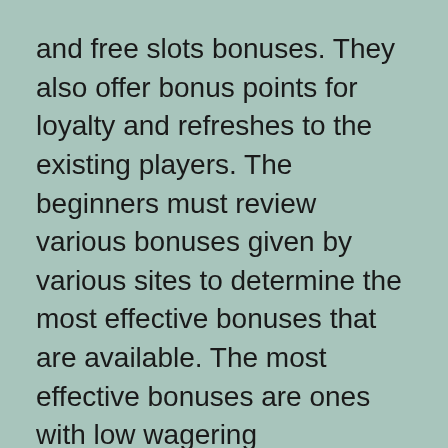and free slots bonuses. They also offer bonus points for loyalty and refreshes to the existing players. The beginners must review various bonuses given by various sites to determine the most effective bonuses that are available. The most effective bonuses are ones with low wagering requirements.
What are the essential requirements for casino Gambling: The first requirement is visiting the casino's website and downloading their software. The next step is setting an account. It is here that the gambler will deposit funds to bet. The amount that you deposit is completely